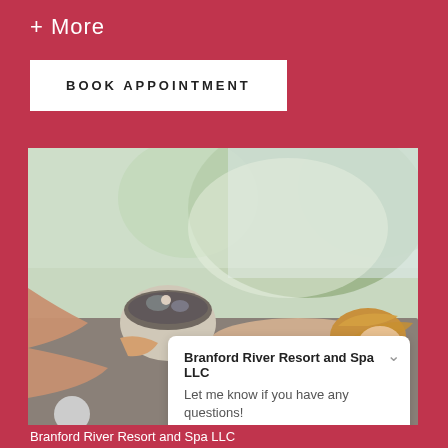+ More
BOOK APPOINTMENT
[Figure (photo): Spa treatment photo showing a woman lying face-down on a massage table receiving a mud/clay body treatment, with a therapist holding a bowl of dark clay mixture. Green tropical foliage visible in the background.]
Branford River Resort and Spa LLC
Let me know if you have any questions!
Branford River Resort and Spa LLC